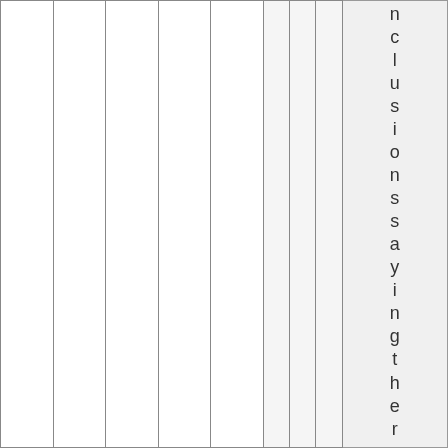|  |  |  |  |  |  |  | nclusionssayingtheres n |
nclusionssayingtheres n